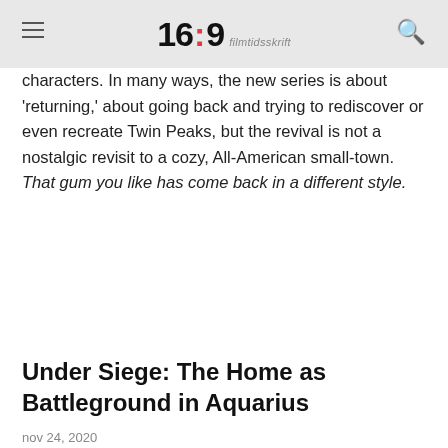16:9 filmtidsskrift
characters. In many ways, the new series is about 'returning,' about going back and trying to rediscover or even recreate Twin Peaks, but the revival is not a nostalgic revisit to a cozy, All-American small-town. That gum you like has come back in a different style.
Under Siege: The Home as Battleground in Aquarius
nov 24, 2020